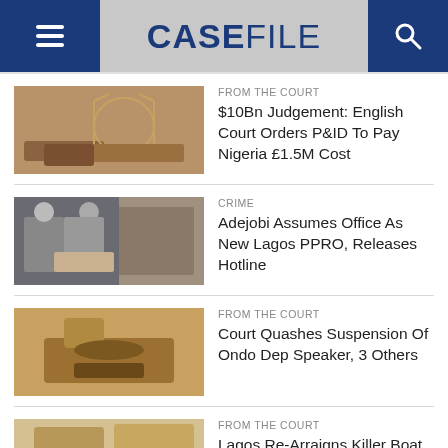CASEFILE
FROM THE COURT
$10Bn Judgement: English Court Orders P&ID To Pay Nigeria £1.5M Cost
CRIME
Adejobi Assumes Office As New Lagos PPRO, Releases Hotline
FROM THE COURT
Court Quashes Suspension Of Ondo Dep Speaker, 3 Others
FROM THE COURT
Lagos Re-Arraigns Killer Boat Driver